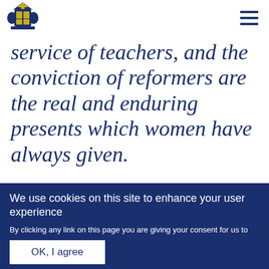[Figure (logo): UK Government coat of arms logo in dark blue]
service of teachers, and the conviction of reformers are the real and enduring presents which women have always given.
We use cookies on this site to enhance your user experience
By clicking any link on this page you are giving your consent for us to set cookies. No, give me more info
OK, I agree